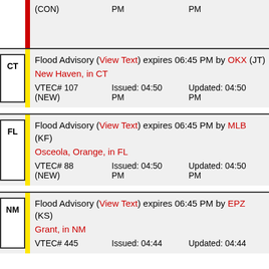| VTEC# | Issued | Updated |
| --- | --- | --- |
| (CON) | PM | PM |
| State | Alert | Details |
| --- | --- | --- |
| CT | Flood Advisory (View Text) expires 06:45 PM by OKX (JT) | New Haven, in CT | VTEC# 107 (NEW) | Issued: 04:50 PM | Updated: 04:50 PM |
| FL | Flood Advisory (View Text) expires 06:45 PM by MLB (KF) | Osceola, Orange, in FL | VTEC# 88 (NEW) | Issued: 04:50 PM | Updated: 04:50 PM |
| NM | Flood Advisory (View Text) expires 06:45 PM by EPZ (KS) | Grant, in NM | VTEC# 445 | Issued: 04:44 | Updated: 04:44 |